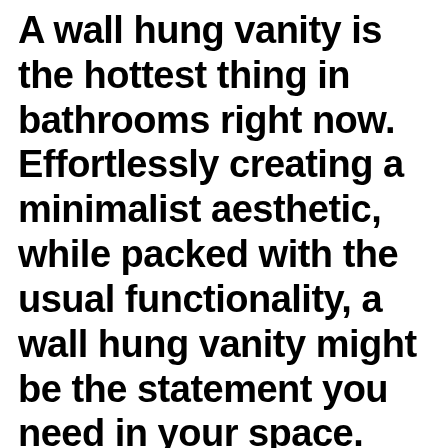A wall hung vanity is the hottest thing in bathrooms right now. Effortlessly creating a minimalist aesthetic, while packed with the usual functionality, a wall hung vanity might be the statement you need in your space.